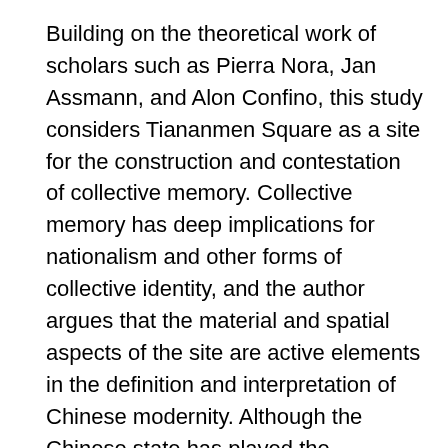Building on the theoretical work of scholars such as Pierra Nora, Jan Assmann, and Alon Confino, this study considers Tiananmen Square as a site for the construction and contestation of collective memory. Collective memory has deep implications for nationalism and other forms of collective identity, and the author argues that the material and spatial aspects of the site are active elements in the definition and interpretation of Chinese modernity. Although the Chinese state has played the dominant role in shaping Tiananmen Square as a political space, this study asks us to remain attentive to “the fluidity and malleability of memorial spaces’ symbolism and utility” (p. 9), and to consider how both state and non-state actors have constructed Tiananmen Square as “a